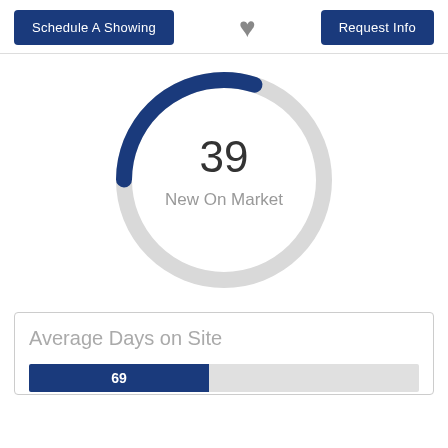Schedule A Showing | [heart] | Request Info
[Figure (donut-chart): New On Market]
Average Days on Site
[Figure (bar-chart): ]